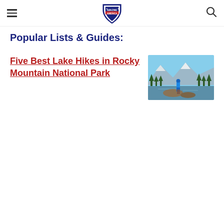Amazing America (logo)
Popular Lists & Guides:
Five Best Lake Hikes in Rocky Mountain National Park
[Figure (photo): Person in blue jacket standing on rocks overlooking a mountain lake with snow-capped peaks and pine forest in background]